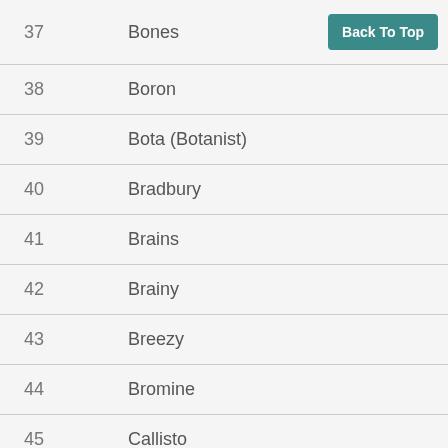| # | Name |
| --- | --- |
| 37 | Bones |
| 38 | Boron |
| 39 | Bota (Botanist) |
| 40 | Bradbury |
| 41 | Brains |
| 42 | Brainy |
| 43 | Breezy |
| 44 | Bromine |
| 45 | Callisto |